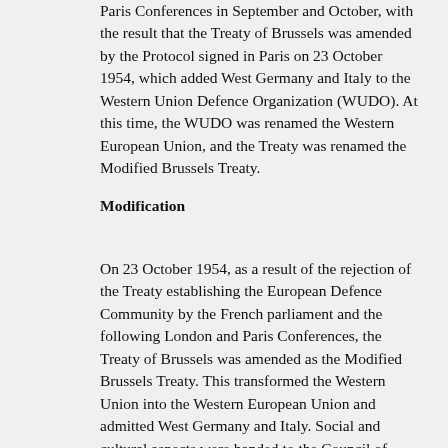Paris Conferences in September and October, with the result that the Treaty of Brussels was amended by the Protocol signed in Paris on 23 October 1954, which added West Germany and Italy to the Western Union Defence Organization (WUDO). At this time, the WUDO was renamed the Western European Union, and the Treaty was renamed the Modified Brussels Treaty.
Modification
On 23 October 1954, as a result of the rejection of the Treaty establishing the European Defence Community by the French parliament and the following London and Paris Conferences, the Treaty of Brussels was amended as the Modified Brussels Treaty. This transformed the Western Union into the Western European Union and admitted West Germany and Italy. Social and cultural aspects were handed to the Council of Europe to avoid duplication of responsibilities within Europe.